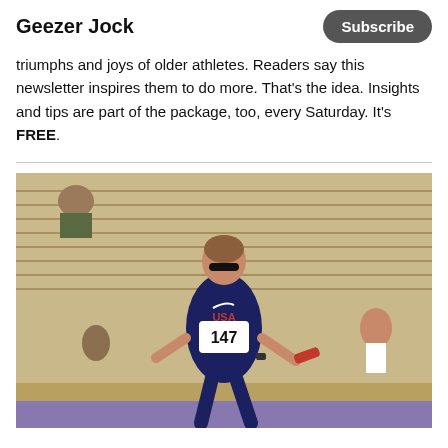Geezer Jock  Subscribe
triumphs and joys of older athletes. Readers say this newsletter inspires them to do more. That's the idea. Insights and tips are part of the package, too, every Saturday. It's FREE.
[Figure (photo): A female athlete wearing a USA track uniform with bib number 147 running a relay race, holding a baton, with stadium bleachers in the background.]